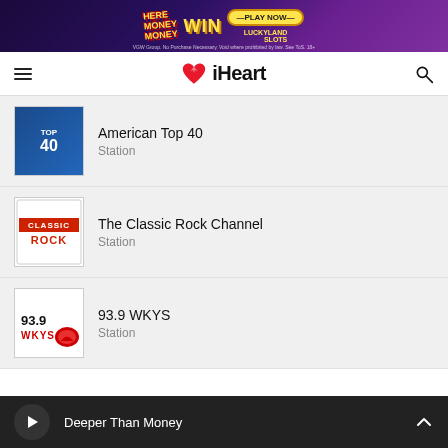[Figure (infographic): Advertisement banner: HERE MONEY MONEY - WIN - PLAY NOW - LUCKYLAND SLOTS. Purple gradient background with colorful text.]
[Figure (logo): iHeartRadio logo: red heart icon with signal waves, followed by 'iHeart' in bold black text. Navigation bar with hamburger menu on left and search icon on right.]
American Top 40
Station
The Classic Rock Channel
Station
93.9 WKYS
Station
Deeper Than Money